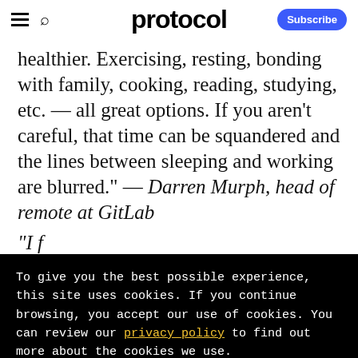protocol — Subscribe
healthier. Exercising, resting, bonding with family, cooking, reading, studying, etc. — all great options. If you aren't careful, that time can be squandered and the lines between sleeping and working are blurred." — Darren Murph, head of remote at GitLab
"I...
To give you the best possible experience, this site uses cookies. If you continue browsing, you accept our use of cookies. You can review our privacy policy to find out more about the cookies we use.
Accept